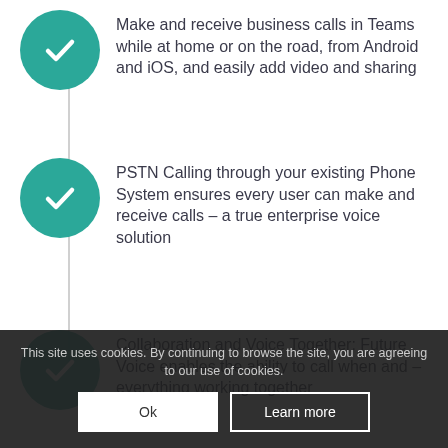Make and receive business calls in Teams while at home or on the road, from Android and iOS, and easily add video and sharing
PSTN Calling through your existing Phone System ensures every user can make and receive calls – a true enterprise voice solution
Collaboration and Voice Together: Future Voice enables the ability to call when and – everything working together
This site uses cookies. By continuing to browse the site, you are agreeing to our use of cookies.